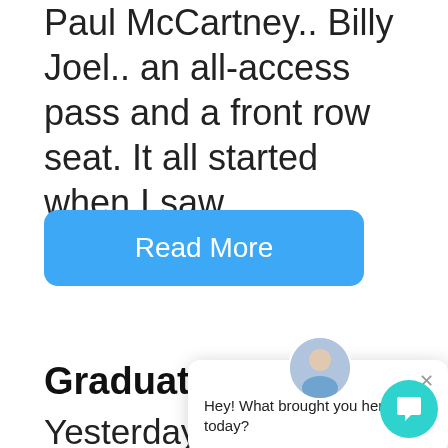Paul McCartney.. Billy Joel.. an all-access pass and a front row seat. It all started when I saw...
[Figure (other): Blue rounded rectangle button with white text 'Read More']
Graduatio
Yesterday mo graduation from SCSU. The rain stopped just in time for the ceremony...
[Figure (other): Chat widget overlay with avatar photo, close button, and message 'Hey! What brought you here today?']
[Figure (other): Teal circular chat FAB button with speech bubble icon]